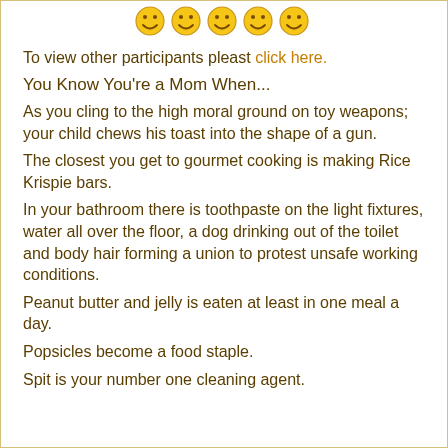[Figure (illustration): Row of five smiley face emoji icons in golden/yellow color at the top of the page]
To view other participants pleast click here.
You Know You're a Mom When...
As you cling to the high moral ground on toy weapons; your child chews his toast into the shape of a gun.
The closest you get to gourmet cooking is making Rice Krispie bars.
In your bathroom there is toothpaste on the light fixtures, water all over the floor, a dog drinking out of the toilet and body hair forming a union to protest unsafe working conditions.
Peanut butter and jelly is eaten at least in one meal a day.
Popsicles become a food staple.
Spit is your number one cleaning agent.